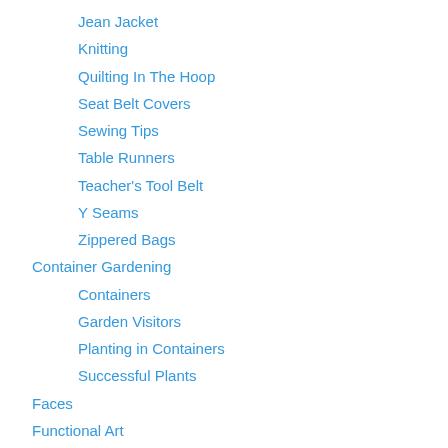Jean Jacket
Knitting
Quilting In The Hoop
Seat Belt Covers
Sewing Tips
Table Runners
Teacher's Tool Belt
Y Seams
Zippered Bags
Container Gardening
Containers
Garden Visitors
Planting in Containers
Successful Plants
Faces
Functional Art
Art / Landscapes
Jackets / Shirts
Quilts
Quilts 2012-13